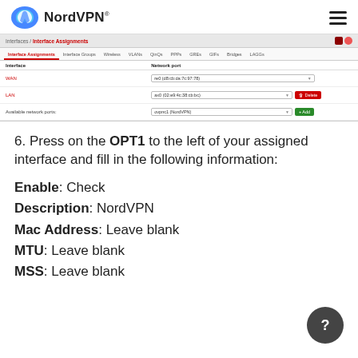NordVPN®
[Figure (screenshot): pfSense Interface Assignments screenshot showing WAN, LAN rows with network port dropdowns, and Available network ports with Add button]
6. Press on the OPT1 to the left of your assigned interface and fill in the following information:
Enable: Check
Description: NordVPN
Mac Address: Leave blank
MTU: Leave blank
MSS: Leave blank